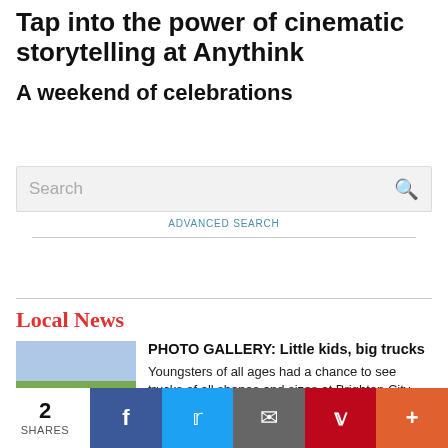Tap into the power of cinematic storytelling at Anythink
A weekend of celebrations
[Figure (screenshot): Search bar with placeholder text 'Search' and a magnifying glass icon on a light gray background]
ADVANCED SEARCH
Local News
[Figure (photo): A child playing on grass outdoors, with a green ball, buildings visible in background]
PHOTO GALLERY: Little kids, big trucks
Youngsters of all ages had a chance to see trucks of all shapes and sizes at Brighton City Hall Aug. 27. It was the city's annual Touch a Truck event, which
2 SHARES